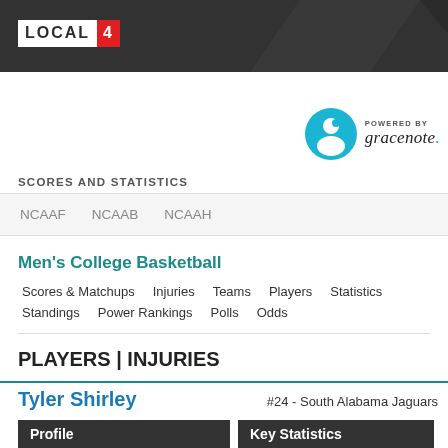LOCAL 4
[Figure (logo): Gracenote powered-by logo with teal circle icon and italic gracenote. text]
SCORES AND STATISTICS
NCAAF   NCAAB   NCAAH
Men's College Basketball
Scores & Matchups   Injuries   Teams   Players   Statistics   Standings   Power Rankings   Polls   Odds
PLAYERS | INJURIES
Tyler Shirley
#24 - South Alabama Jaguars
| Profile | Key Statistics |
| --- | --- |